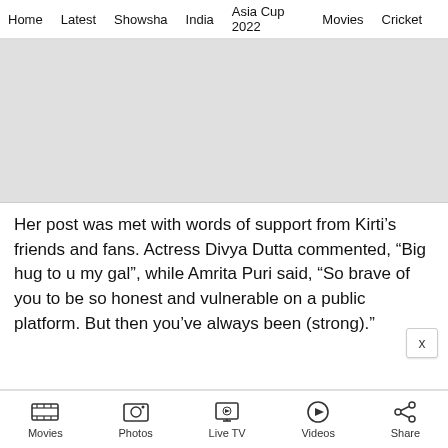Home | Latest | Showsha | India | Asia Cup 2022 | Movies | Cricket
[Figure (photo): Gray placeholder image for an article photo]
Her post was met with words of support from Kirti's friends and fans. Actress Divya Dutta commented, “Big hug to u my gal”, while Amrita Puri said, “So brave of you to be so honest and vulnerable on a public platform. But then you’ve always been (strong)."
Movies | Photos | Live TV | Videos | Share